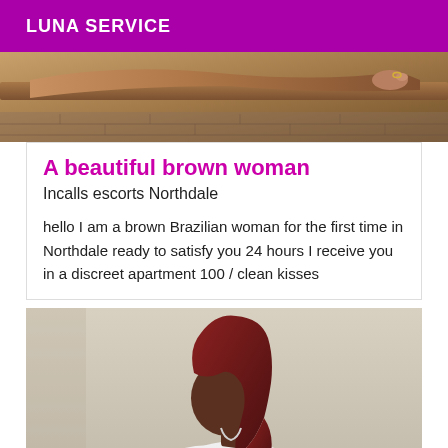LUNA SERVICE
[Figure (photo): Top portion of a woman's body lying on a surface, showing her arm and hand with a ring, against a brick/wall background]
A beautiful brown woman
Incalls escorts Northdale
hello I am a brown Brazilian woman for the first time in Northdale ready to satisfy you 24 hours I receive you in a discreet apartment 100 / clean kisses
[Figure (photo): A woman with reddish-brown shoulder-length hair wearing a white top, photographed from behind/side profile against a light beige background]